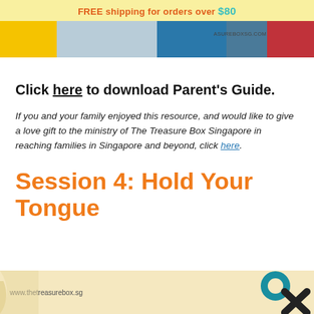FREE shipping for orders over $80
[Figure (photo): Banner photo showing people and partial URL text ASUREBOXSG.COM]
Click here to download Parent's Guide.
If you and your family enjoyed this resource, and would like to give a love gift to the ministry of The Treasure Box Singapore in reaching families in Singapore and beyond, click here.
Session 4: Hold Your Tongue
www.thetreasurebox.sg